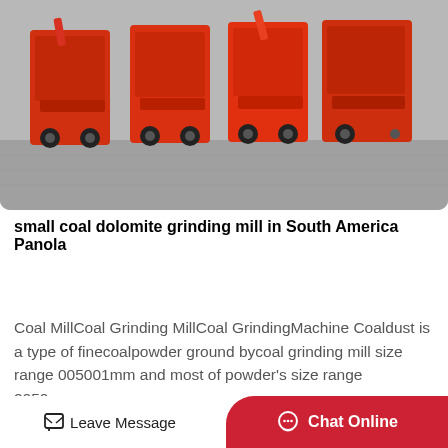[Figure (photo): Row of red industrial grinding mill machines parked on a concrete surface, photographed from front-left angle.]
small coal dolomite grinding mill in South America Panola
Coal MillCoal Grinding MillCoal GrindingMachine Coaldust is a type of finecoalpowder ground bycoal grinding mill size range 005001mm and most of powder's size range 2050μm…
[Figure (other): Read More button with dashed red border and red text]
[Figure (other): Partially visible image at the bottom of the page, appears to be another product or article preview]
[Figure (other): Back to top button icon, square with upward arrow]
Leave Message   Chat Online